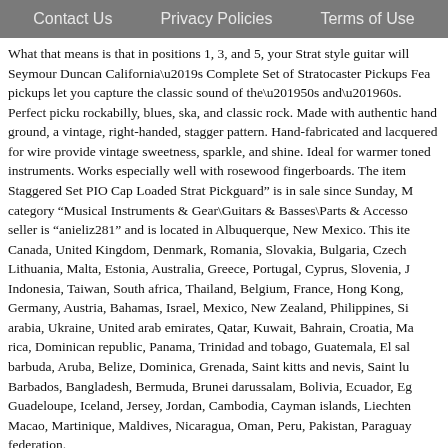Contact Us   Privacy Policies   Terms of Use
What that means is that in positions 1, 3, and 5, your Strat style guitar will Seymour Duncan California'50s Complete Set of Stratocaster Pickups Fea pickups let you capture the classic sound of the'50s and'60s. Perfect picku rockabilly, blues, ska, and classic rock. Made with authentic hand ground, a vintage, right-handed, stagger pattern. Hand-fabricated and lacquered for wire provide vintage sweetness, sparkle, and shine. Ideal for warmer toned instruments. Works especially well with rosewood fingerboards. The item Staggered Set PIO Cap Loaded Strat Pickguard” is in sale since Sunday, M category “Musical Instruments & Gear\Guitars & Basses\Parts & Accesso seller is “anieliz281” and is located in Albuquerque, New Mexico. This ite Canada, United Kingdom, Denmark, Romania, Slovakia, Bulgaria, Czech Lithuania, Malta, Estonia, Australia, Greece, Portugal, Cyprus, Slovenia, J Indonesia, Taiwan, South africa, Thailand, Belgium, France, Hong Kong, Germany, Austria, Bahamas, Israel, Mexico, New Zealand, Philippines, Si arabia, Ukraine, United arab emirates, Qatar, Kuwait, Bahrain, Croatia, Ma rica, Dominican republic, Panama, Trinidad and tobago, Guatemala, El sal barbuda, Aruba, Belize, Dominica, Grenada, Saint kitts and nevis, Saint lu Barbados, Bangladesh, Bermuda, Brunei darussalam, Bolivia, Ecuador, Eg Guadeloupe, Iceland, Jersey, Jordan, Cambodia, Cayman islands, Liechten Macao, Martinique, Maldives, Nicaragua, Oman, Peru, Pakistan, Paraguay federation.
Brand: Seymour Duncan
Model: Ssl-1
Type: Single Coil